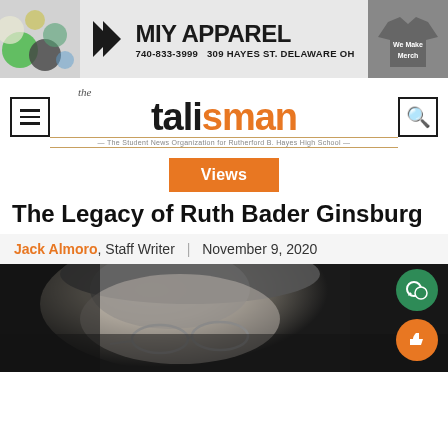[Figure (illustration): MIY Apparel banner advertisement. Shows paint cans on left, logo with double-arrow chevron and text 'MIY APPAREL', phone number 740-833-3999, address 309 Hayes St. Delaware OH, and a grey t-shirt on right with 'We Make Merch' text.]
[Figure (logo): The Talisman newspaper logo. Hamburger menu icon on left, search icon on right. Center shows 'the talisman' in orange/black large font. Tagline: 'The Student News Organization for Rutherford B. Hayes High School']
Views
The Legacy of Ruth Bader Ginsburg
Jack Almoro, Staff Writer | November 9, 2020
[Figure (photo): Black and white close-up photograph of Ruth Bader Ginsburg wearing glasses. Two floating action buttons visible on right: a green circle with comment/speech bubble icon and an orange circle with a thumbs up icon.]